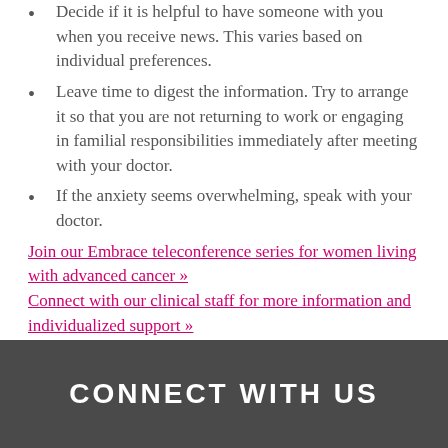Decide if it is helpful to have someone with you when you receive news. This varies based on individual preferences.
Leave time to digest the information. Try to arrange it so that you are not returning to work or engaging in familial responsibilities immediately after meeting with your doctor.
If the anxiety seems overwhelming, speak with your doctor.
Join our Embrace teleconference series for women living with advanced cancer » Connect with our clinical staff for more information and individualized support »
CONNECT WITH US